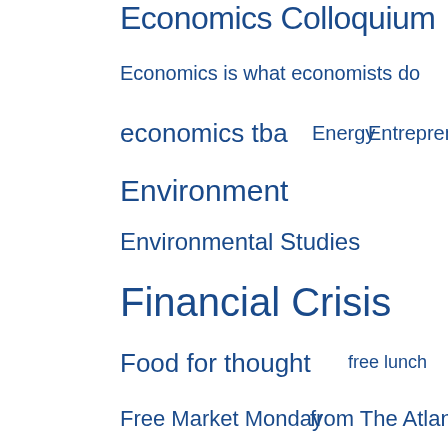Economics Colloquium
Economics is what economists do
economics tba
Energy
Entrepreneurship
Environment
Environmental Studies
Financial Crisis
Food for thought
free lunch
Free Market Monday
from The Atlantic